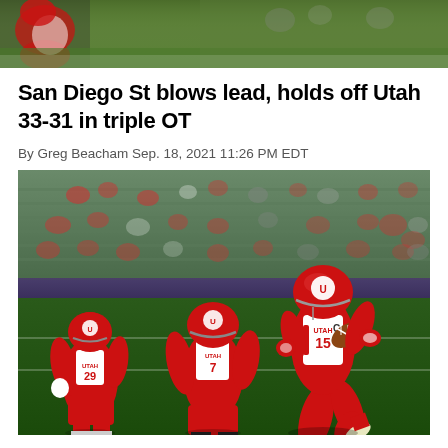[Figure (photo): Top portion of a football game photo showing players on field, partially cropped at top of page]
San Diego St blows lead, holds off Utah 33-31 in triple OT
By Greg Beacham Sep. 18, 2021 11:26 PM EDT
[Figure (photo): Utah Utes football players in red and white uniforms celebrating on field, with one player jumping in the air holding a football, stadium seats in background]